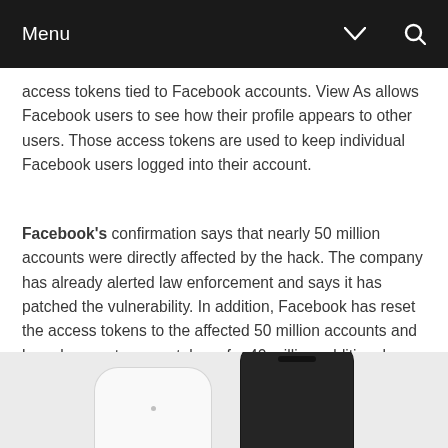Menu
access tokens tied to Facebook accounts. View As allows Facebook users to see how their profile appears to other users. Those access tokens are used to keep individual Facebook users logged into their account.
Facebook's confirmation says that nearly 50 million accounts were directly affected by the hack. The company has already alerted law enforcement and says it has patched the vulnerability. In addition, Facebook has reset the access tokens to the affected 50 million accounts and has also reset access tokens for 40 million additional accounts that have had their accounts accessed with the View As feature within the last year.
[Figure (photo): Partial view of two devices — a white rounded device and a dark smartphone — shown from below against a light gray background.]